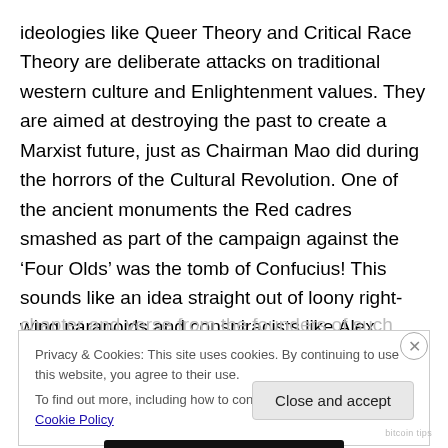ideologies like Queer Theory and Critical Race Theory are deliberate attacks on traditional western culture and Enlightenment values. They are aimed at destroying the past to create a Marxist future, just as Chairman Mao did during the horrors of the Cultural Revolution. One of the ancient monuments the Red cadres smashed as part of the campaign against the ‘Four Olds’ was the tomb of Confucius! This sounds like an idea straight out of loony right-wing paranoids and conspiracists like Alex Jones and the John Birch Society, until he backs it up by reading chapter and verse from the founders of such
Privacy & Cookies: This site uses cookies. By continuing to use this website, you agree to their use.
To find out more, including how to control cookies, see here: Cookie Policy
Close and accept